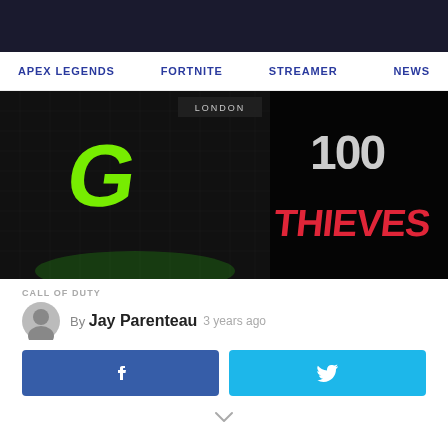APEX LEGENDS   FORTNITE   STREAMER   NEWS
[Figure (illustration): Split image showing OpTic Gaming logo (green stylized G on dark city background with 'LONDON' text) on the left, and 100 Thieves logo (red graffiti-style lettering on black) on the right.]
CALL OF DUTY
By Jay Parenteau  3 years ago
Facebook share button and Twitter share button